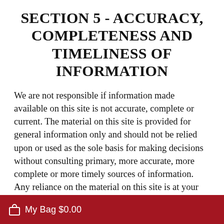SECTION 5 - ACCURACY, COMPLETENESS AND TIMELINESS OF INFORMATION
We are not responsible if information made available on this site is not accurate, complete or current. The material on this site is provided for general information only and should not be relied upon or used as the sole basis for making decisions without consulting primary, more accurate, more complete or more timely sources of information. Any reliance on the material on this site is at your own risk. This site may contain certain historical information. Historical information,
My Bag $0.00